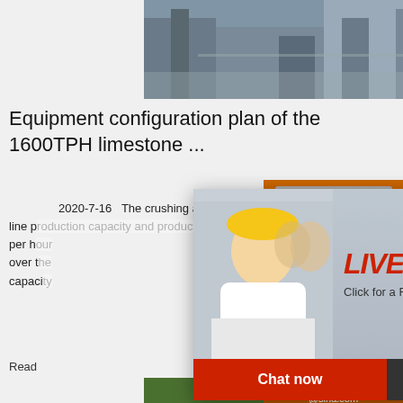[Figure (photo): Industrial/factory equipment photo at top of page]
Equipment configuration plan of the 1600TPH limestone ...
2020-7-16   The crushing and screening line is designed with double production lines, and the line production capacity and production per hour over the capacity
Read
[Figure (photo): Large yellow and blue mobile crushing/screening machine on construction site]
装备配置方案1600TPH石灰石
[Figure (infographic): Right sidebar with orange background showing crushing machine images, discount offer, enquiry info and live chat overlay]
[Figure (infographic): Live chat popup overlay with workers in hard hats, LIVE CHAT text, Chat now and Chat later buttons]